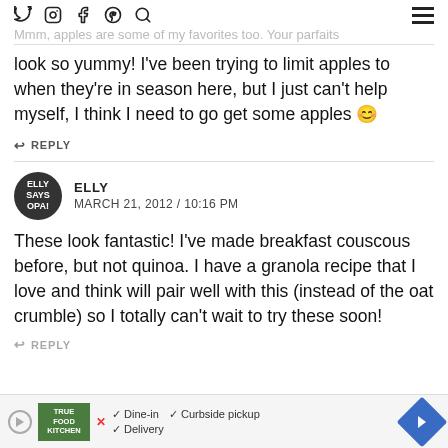Social icons: Twitter, Instagram, Facebook, Pinterest, Search | Hamburger menu
Mmm, apples are some of my favorites too. Your parfaits look so yummy! I've been trying to limit apples to when they're in season here, but I just can't help myself, I think I need to go get some apples 😊
↩ REPLY
ELLY
MARCH 21, 2012 / 10:16 PM
These look fantastic! I've made breakfast couscous before, but not quinoa. I have a granola recipe that I love and think will pair well with this (instead of the oat crumble) so I totally can't wait to try these soon!
↩ REPLY
[Figure (other): Advertisement banner for True Food Kitchen showing dine-in, curbside pickup, delivery options]